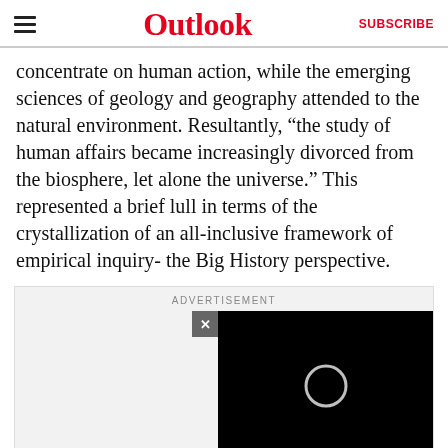Outlook  SUBSCRIBE
concentrate on human action, while the emerging sciences of geology and geography attended to the natural environment. Resultantly, “the study of human affairs became increasingly divorced from the biosphere, let alone the universe.” This represented a brief lull in terms of the crystallization of an all-inclusive framework of empirical inquiry- the Big History perspective.
[Figure (other): Advertisement placeholder with a black video player area showing a loading spinner circle, a close button (x), and ADVERTISEMENT label text above.]